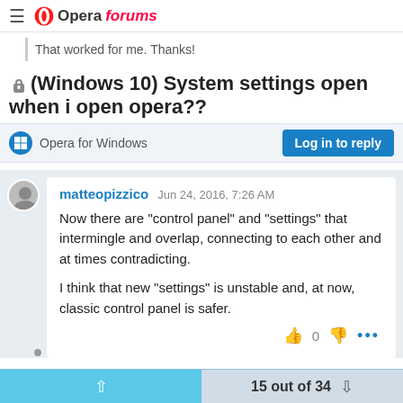Opera forums
That worked for me. Thanks!
(Windows 10) System settings open when i open opera??
Opera for Windows
Log in to reply
matteopizzico  Jun 24, 2016, 7:26 AM
Now there are "control panel" and "settings" that intermingle and overlap, connecting to each other and at times contradicting.

I think that new "settings" is unstable and, at now, classic control panel is safer.
15 out of 34